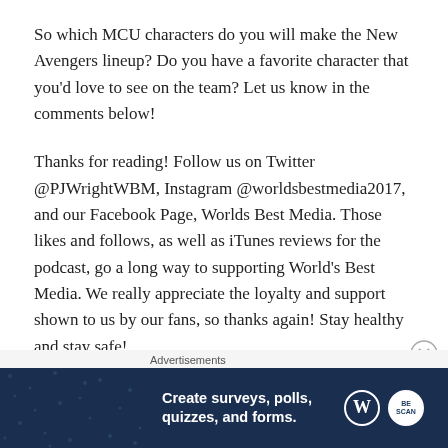So which MCU characters do you will make the New Avengers lineup? Do you have a favorite character that you'd love to see on the team? Let us know in the comments below!
Thanks for reading! Follow us on Twitter @PJWrightWBM, Instagram @worldsbestmedia2017, and our Facebook Page, Worlds Best Media. Those likes and follows, as well as iTunes reviews for the podcast, go a long way to supporting World's Best Media. We really appreciate the loyalty and support shown to us by our fans, so thanks again! Stay healthy and stay safe!
–Paul ↘t
Advertisements
[Figure (other): Advertisement banner: dark navy background with dot pattern. Text reads 'Create surveys, polls, quizzes, and forms.' WordPress logo and BeScan logo on right side.]